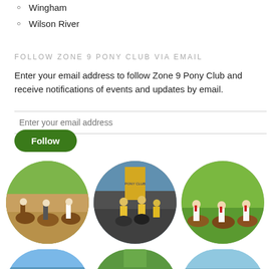Wingham
Wilson River
FOLLOW ZONE 9 PONY CLUB VIA EMAIL
Enter your email address to follow Zone 9 Pony Club and receive notifications of events and updates by email.
[Figure (screenshot): Email input field with placeholder text 'Enter your email address']
[Figure (screenshot): Green Follow button]
[Figure (photo): Three circular photos of horse riders in equestrian attire at pony club events]
[Figure (photo): Two partially visible circular photos at the bottom of the page showing outdoor/equestrian scenes]